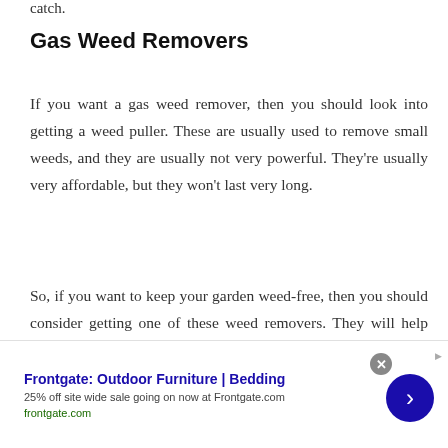catch.
Gas Weed Removers
If you want a gas weed remover, then you should look into getting a weed puller. These are usually used to remove small weeds, and they are usually not very powerful. They’re usually very affordable, but they won’t last very long.
So, if you want to keep your garden weed-free, then you should consider getting one of these weed removers. They will help you to
Frontgate: Outdoor Furniture | Bedding
25% off site wide sale going on now at Frontgate.com
frontgate.com